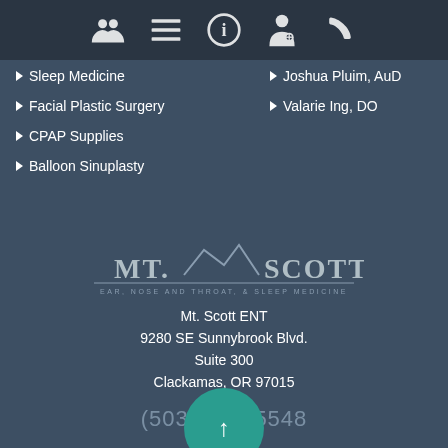Navigation bar with icons
Sleep Medicine
Facial Plastic Surgery
CPAP Supplies
Balloon Sinuplasty
Joshua Pluim, AuD
Valarie Ing, DO
[Figure (logo): Mt. Scott Ear, Nose and Throat & Sleep Medicine logo with mountain silhouette]
Mt. Scott ENT
9280 SE Sunnybrook Blvd.
Suite 300
Clackamas, OR 97015
(503) 21- -5548